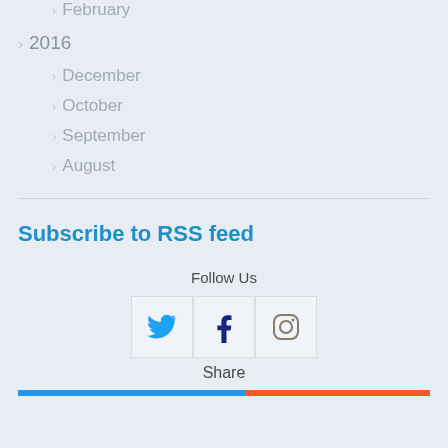February
2016
December
October
September
August
Subscribe to RSS feed
Follow Us
[Figure (infographic): Social media icons: Twitter (bird icon, blue), Facebook (f icon, dark blue), Instagram (camera icon, gray/beige) in three bordered white boxes]
Share